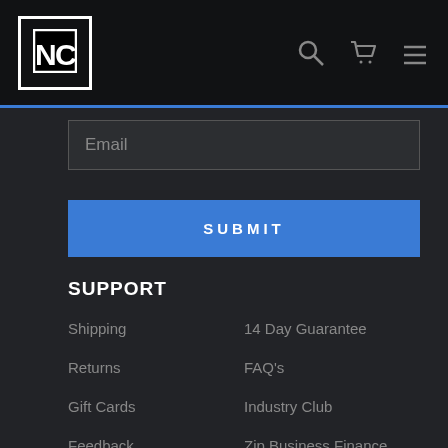[Figure (logo): NC logo in white square box on black header background with search, cart and menu icons on the right]
Email
SUBMIT
SUPPORT
Shipping
14 Day Guarantee
Returns
FAQ's
Gift Cards
Industry Club
Feedback
Zip Business Finance